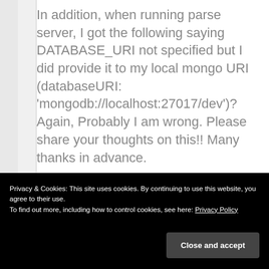In addition, when running parse server, I got the following saying DATABASE_URI not specified but I did provide it to my local mongo URI (databaseURI: 'mongodb://localhost:27017/dev')? Again, Probably I am wrong. Please share your thoughts on this!! Many thanks in advance.
> node index.js
Privacy & Cookies: This site uses cookies. By continuing to use this website, you agree to their use.
To find out more, including how to control cookies, see here: Privacy Policy